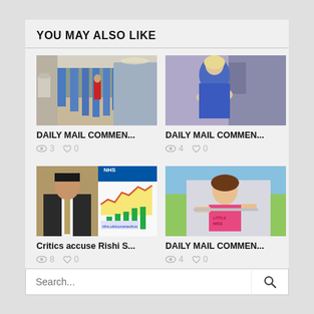YOU MAY ALSO LIKE
[Figure (photo): Hospital corridor with blue curtains and a person in red scrubs walking away]
DAILY MAIL COMMEN...
👁 3  ♡ 0
[Figure (photo): Blonde woman in blue jacket speaking at event]
DAILY MAIL COMMEN...
👁 4  ♡ 0
[Figure (photo): Man in suit beside NHS coronavirus chart with bar graph]
Critics accuse Rishi S...
👁 8  ♡ 0
[Figure (photo): Young girl in pink shirt holding a stick]
DAILY MAIL COMMEN...
👁 4  ♡ 0